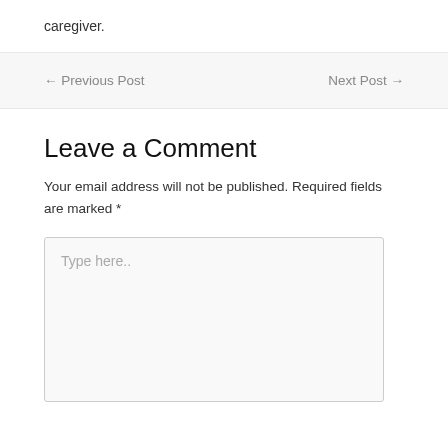caregiver.
← Previous Post   Next Post →
Leave a Comment
Your email address will not be published. Required fields are marked *
Type here..